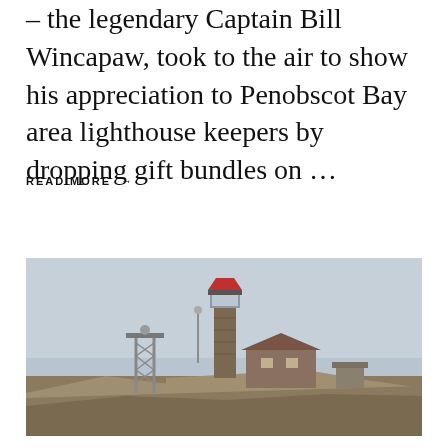– the legendary Captain Bill Wincapaw, took to the air to show his appreciation to Penobscot Bay area lighthouse keepers by dropping gift bundles on …
READ MORE →
[Figure (photo): A photograph of a lighthouse with a red top on a rocky island, with a keeper's house and metal tower structure visible, under a cloudy grey sky.]